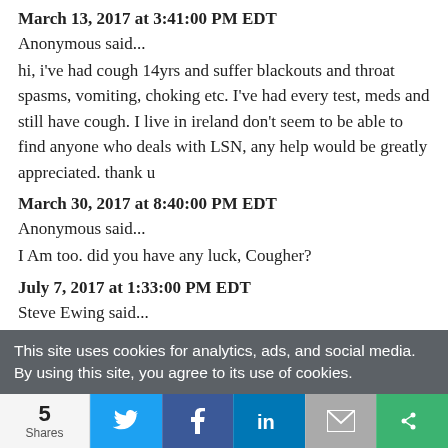March 13, 2017 at 3:41:00 PM EDT
Anonymous said...
hi, i've had cough 14yrs and suffer blackouts and throat spasms, vomiting, choking etc. I've had every test, meds and still have cough. I live in ireland don't seem to be able to find anyone who deals with LSN, any help would be greatly appreciated. thank u
March 30, 2017 at 8:40:00 PM EDT
Anonymous said...
I Am too. did you have any luck, Cougher?
July 7, 2017 at 1:33:00 PM EDT
Steve Ewing said...
I don't know if this information will be of use to
This site uses cookies for analytics, ads, and social media. By using this site, you agree to its use of cookies.
5 Shares